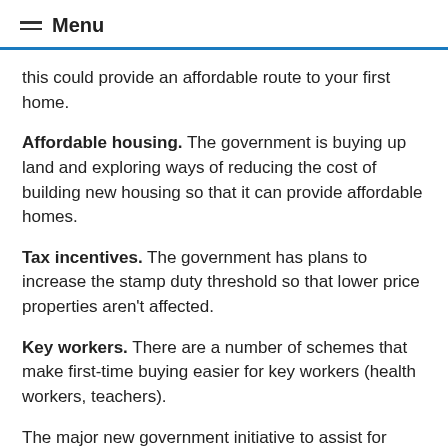Menu
this could provide an affordable route to your first home.
Affordable housing. The government is buying up land and exploring ways of reducing the cost of building new housing so that it can provide affordable homes.
Tax incentives. The government has plans to increase the stamp duty threshold so that lower price properties aren't affected.
Key workers. There are a number of schemes that make first-time buying easier for key workers (health workers, teachers).
The major new government initiative to assist for